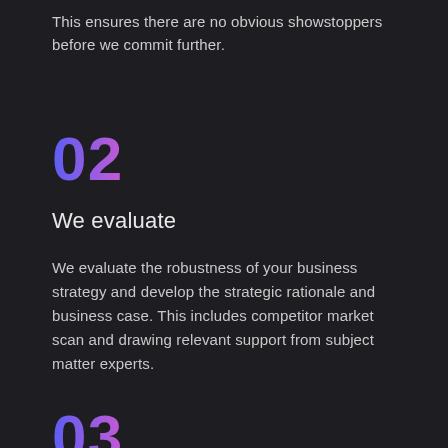This ensures there are no obvious showstoppers before we commit further.
02
We evaluate
We evaluate the robustness of your business strategy and develop the strategic rationale and business case. This includes competitor market scan and drawing relevant support from subject matter experts.
03